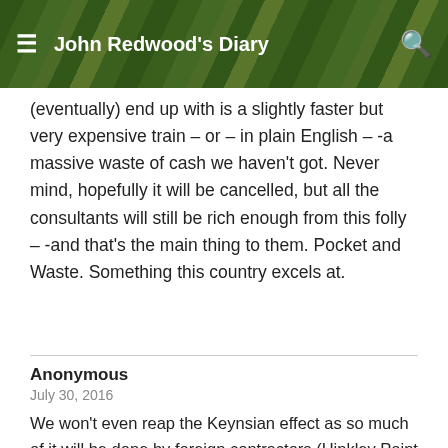John Redwood's Diary
(eventually) end up with is a slightly faster but very expensive train – or – in plain English – -a massive waste of cash we haven't got. Never mind, hopefully it will be cancelled, but all the consultants will still be rich enough from this folly – -and that's the main thing to them. Pocket and Waste. Something this country excels at.
Anonymous
July 30, 2016
We won't even reap the Keynsian effect as so much of it will be done by foreign contractors (Hinkley Point too.)